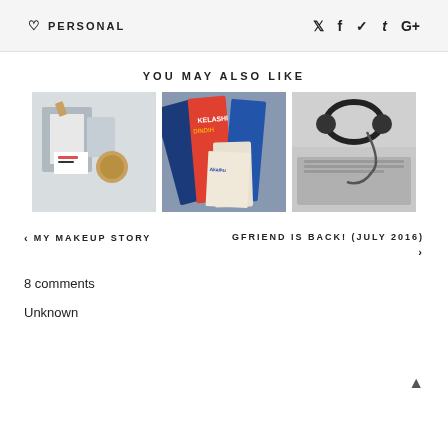♡ PERSONAL   𝕏 f pinterest t G+
YOU MAY ALSO LIKE
[Figure (photo): Three thumbnail photos in a row: (1) stationery flatlay with notebook, paper, binder clip and cookie, (2) colorful book covers stacked, (3) headphones on laptop keyboard in black and white]
‹  MY MAKEUP STORY
GFRIEND IS BACK! (JULY 2016)  ›
8 comments
Unknown